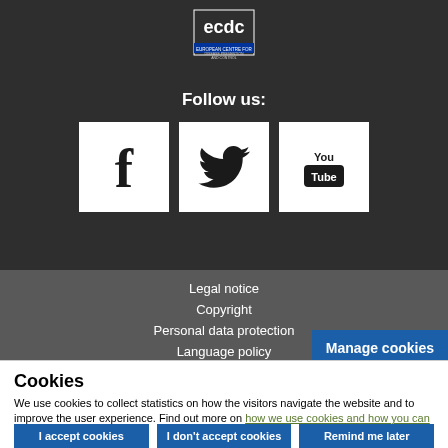[Figure (logo): ECDC logo (European Centre for Disease Prevention and Control) in white on dark background]
Follow us:
[Figure (illustration): Three social media icons: Facebook, Twitter, YouTube in white square boxes]
Legal notice
Copyright
Personal data protection
Language policy
Manage cookies
Cookies
We use cookies to collect statistics on how the visitors navigate the website and to improve the user experience. Find out more on how we use cookies and how you can change your settings.
I accept cookies
I don't accept cookies
Remind me later